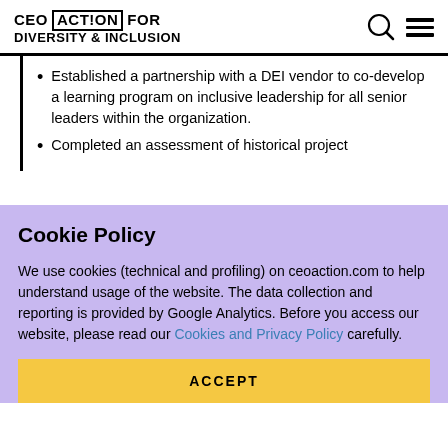CEO ACTION FOR DIVERSITY & INCLUSION
Established a partnership with a DEI vendor to co-develop a learning program on inclusive leadership for all senior leaders within the organization.
Completed an assessment of historical project
Cookie Policy
We use cookies (technical and profiling) on ceoaction.com to help understand usage of the website. The data collection and reporting is provided by Google Analytics. Before you access our website, please read our Cookies and Privacy Policy carefully.
ACCEPT